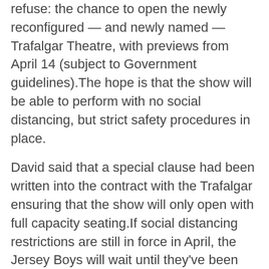refuse: the chance to open the newly reconfigured — and newly named — Trafalgar Theatre, with previews from April 14 (subject to Government guidelines).The hope is that the show will be able to perform with no social distancing, but strict safety procedures in place.
David said that a special clause had been written into the contract with the Trafalgar ensuring that the show will only open with full capacity seating.If social distancing restrictions are still in force in April, the Jersey Boys will wait until they've been lifted.
[Figure (photo): Broken image icon with alt text: The Jersey Boys musical is working its way back into London, nearly four years after it closed at the Piccadilly Theatre]
The Jersey Boys musical is working its way back into London, nearly four years after it closed at the Piccadilly Theatre
As with Broadway, David told me 'we can't pay our bills if...